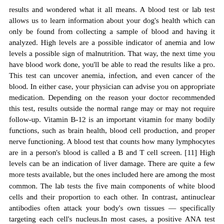results and wondered what it all means. A blood test or lab test allows us to learn information about your dog's health which can only be found from collecting a sample of blood and having it analyzed. High levels are a possible indicator of anemia and low levels a possible sign of malnutrition. That way, the next time you have blood work done, you'll be able to read the results like a pro. This test can uncover anemia, infection, and even cancer of the blood. In either case, your physician can advise you on appropriate medication. Depending on the reason your doctor recommended this test, results outside the normal range may or may not require follow-up. Vitamin B-12 is an important vitamin for many bodily functions, such as brain health, blood cell production, and proper nerve functioning. A blood test that counts how many lymphocytes are in a person's blood is called a B and T cell screen. [11] High levels can be an indication of liver damage. There are quite a few more tests available, but the ones included here are among the most common. The lab tests the five main components of white blood cells and their proportion to each other. In contrast, antinuclear antibodies often attack your body's own tissues — specifically targeting each cell's nucleus.In most cases, a positive ANA test indicates that your immune system has launched a misdirected attack on your own tissue — in other words, an autoimmune reaction. It can also be used to look for early signs of kidney damage. For Hematocrit Blood Test – When the results have inadequate red blood cells, it may be an indication of